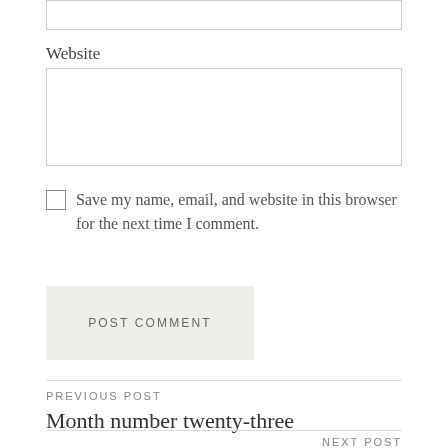Website
Save my name, email, and website in this browser for the next time I comment.
POST COMMENT
PREVIOUS POST
Month number twenty-three
NEXT POST
Simple Green Giveaway Winner